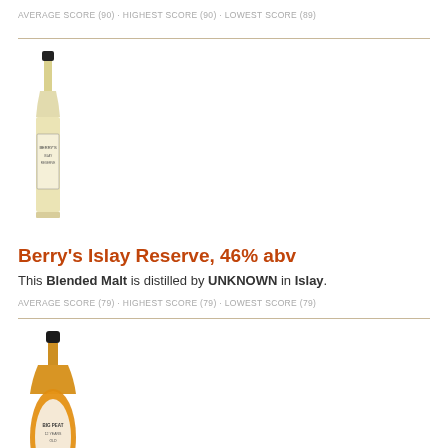AVERAGE SCORE (90) · HIGHEST SCORE (90) · LOWEST SCORE (89)
[Figure (photo): Bottle of Berry's Islay Reserve whisky - tall slender bottle with light golden liquid and black cap]
Berry's Islay Reserve, 46% abv
This Blended Malt is distilled by UNKNOWN in Islay.
AVERAGE SCORE (79) · HIGHEST SCORE (79) · LOWEST SCORE (79)
[Figure (photo): Bottle of Big Peat 12 Years Old whisky - distinctive squat rounded bottle with amber/orange liquid and dark cap]
Big Peat 12 Years Old, 46% abv
This Blended Malt is distilled by UNKNOWN in Scotland.
AVERAGE SCORE (68) · HIGHEST SCORE (88) · LOWEST SCORE (68)